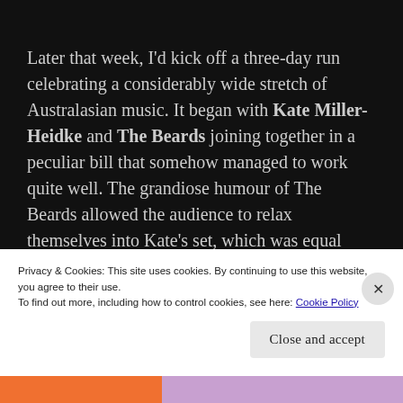Later that week, I'd kick off a three-day run celebrating a considerably wide stretch of Australasian music. It began with Kate Miller-Heidke and The Beards joining together in a peculiar bill that somehow managed to work quite well. The grandiose humour of The Beards allowed the audience to relax themselves into Kate's set, which was equal parts delightful and sweet as it was intense and emotively striking. She truly is a
Privacy & Cookies: This site uses cookies. By continuing to use this website, you agree to their use.
To find out more, including how to control cookies, see here: Cookie Policy